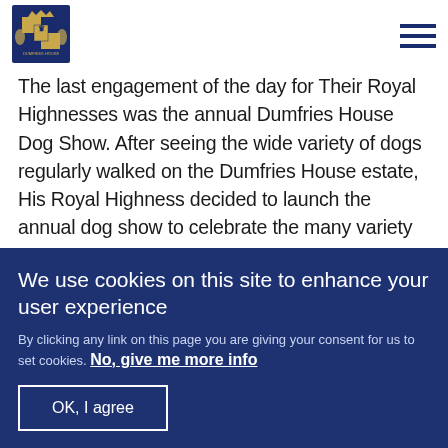[Royal coat of arms logo] [Hamburger menu icon]
The last engagement of the day for Their Royal Highnesses was the annual Dumfries House Dog Show. After seeing the wide variety of dogs regularly walked on the Dumfries House estate, His Royal Highness decided to launch the annual dog show to celebrate the many variety of breeds in the local area. The Duke and Duchess enjoyed watching a range of different
We use cookies on this site to enhance your user experience
By clicking any link on this page you are giving your consent for us to set cookies. No, give me more info
OK, I agree